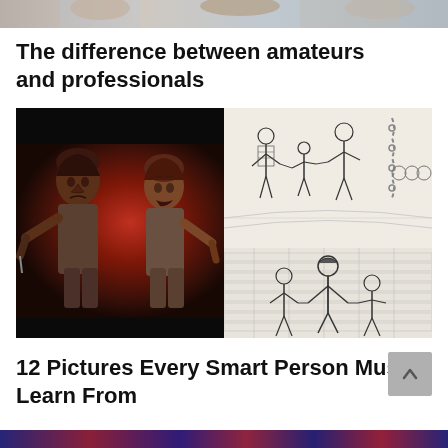[Figure (photo): Top cropped photo of people, partially visible at the very top of the page]
The difference between amateurs and professionals
[Figure (illustration): Two-panel illustration: left panel shows a dark painting of two confrontational figures facing each other with red background; right panel shows a pencil sketch of people holding hands and walking together]
12 Pictures Every Smart Person Must Learn From
[Figure (photo): Bottom strip of a colorful image, partially visible at the very bottom of the page]